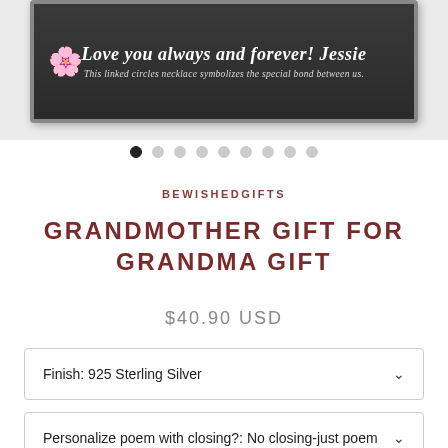[Figure (photo): Product image of a gift box with dark background, floral decoration, and cursive text reading 'Love you always and forever! Jessie' with subtitle 'This linked circles necklace symbolizes the special bond between us.']
BEWISHEDGIFTS
GRANDMOTHER GIFT FOR GRANDMA GIFT
$40.90 USD
Finish: 925 Sterling Silver
Personalize poem with closing?: No closing-just poem